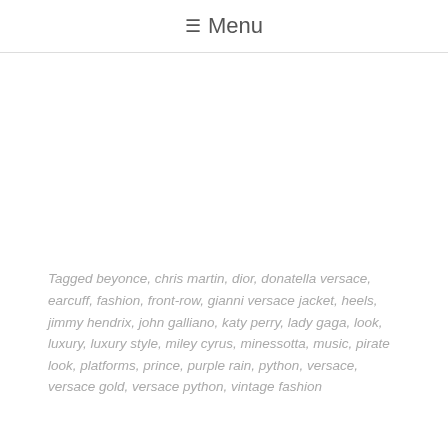≡ Menu
Tagged beyonce, chris martin, dior, donatella versace, earcuff, fashion, front-row, gianni versace jacket, heels, jimmy hendrix, john galliano, katy perry, lady gaga, look, luxury, luxury style, miley cyrus, minessotta, music, pirate look, platforms, prince, purple rain, python, versace, versace gold, versace python, vintage fashion